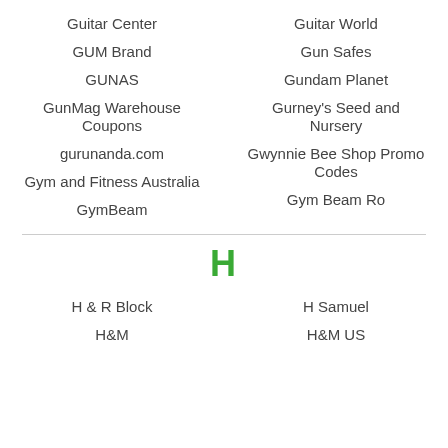Guitar Center
Guitar World
GUM Brand
Gun Safes
GUNAS
Gundam Planet
GunMag Warehouse Coupons
Gurney's Seed and Nursery
gurunanda.com
Gwynnie Bee Shop Promo Codes
Gym and Fitness Australia
Gym Beam Ro
GymBeam
H
H & R Block
H Samuel
H&M
H&M US